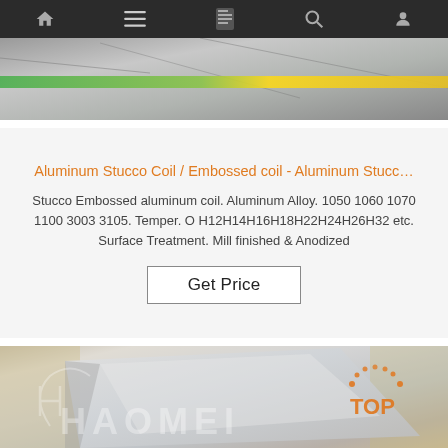Navigation bar with home, menu, document, search, and profile icons
[Figure (photo): Top image of aluminum stucco coil with green and yellow stripe visible on surface]
Aluminum Stucco Coil / Embossed coil - Aluminum Stucc…
Stucco Embossed aluminum coil. Aluminum Alloy. 1050 1060 1070 1100 3003 3105. Temper. O H12H14H16H18H22H24H26H32 etc. Surface Treatment. Mill finished & Anodized
Get Price
[Figure (photo): Bottom image of aluminum sheets stacked, with Haomei watermark logo and TOP orange dotted arc logo]